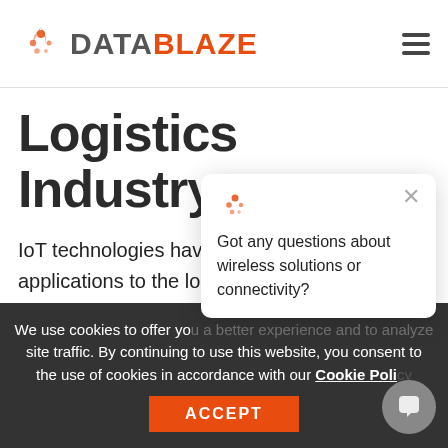DATABLAZE
Logistics Industry
IoT technologies have vast capabilities and applications to the logistics industry that we are just beginning to scratch the surface of. They improve business operational costs, i...
[Figure (screenshot): Chat popup with DataBlaze logo icon, close button, and message: Got any questions about wireless solutions or connectivity?]
We use cookies to offer you a better experience and to analyze site traffic. By continuing to use this website, you consent to the use of cookies in accordance with our Cookie Policy
[Figure (other): ACCEPT button in orange]